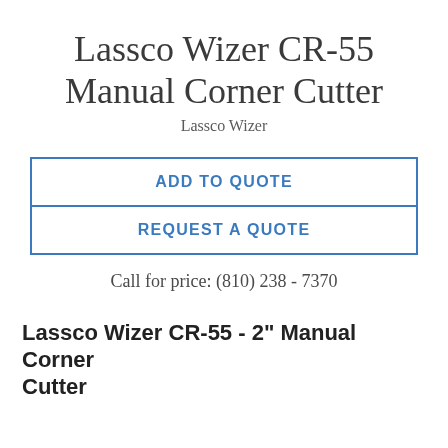Lassco Wizer CR-55 Manual Corner Cutter
Lassco Wizer
ADD TO QUOTE
REQUEST A QUOTE
Call for price: (810) 238 - 7370
Lassco Wizer CR-55 - 2" Manual Corner Cutter